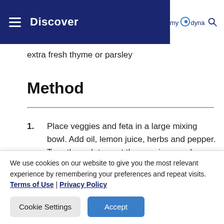Discover | my dynamics
extra fresh thyme or parsley
Method
1. Place veggies and feta in a large mixing bowl. Add oil, lemon juice, herbs and pepper. Toss through to coat the veggies evenly.
2. Place two pieces of foil together to make a double…
We use cookies on our website to give you the most relevant experience by remembering your preferences and repeat visits. Terms of Use | Privacy Policy
Cookie Settings | Accept